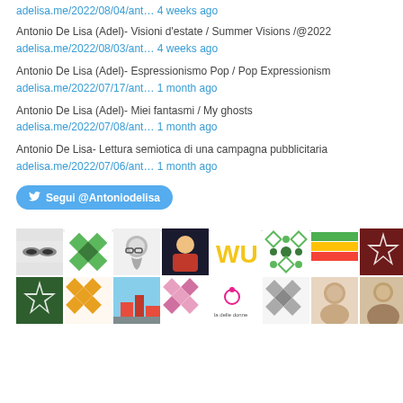adelisa.me/2022/08/04/ant… 4 weeks ago
Antonio De Lisa (Adel)- Visioni d'estate / Summer Visions /@2022
adelisa.me/2022/08/03/ant… 4 weeks ago
Antonio De Lisa (Adel)- Espressionismo Pop / Pop Expressionism
adelisa.me/2022/07/17/ant… 1 month ago
Antonio De Lisa (Adel)- Miei fantasmi / My ghosts
adelisa.me/2022/07/08/ant… 1 month ago
Antonio De Lisa- Lettura semiotica di una campagna pubblicitaria
adelisa.me/2022/07/06/ant… 1 month ago
[Figure (other): Twitter follow button: Segui @Antoniodelisa]
[Figure (other): Grid of profile/avatar thumbnail images in two rows of 9 squares each]